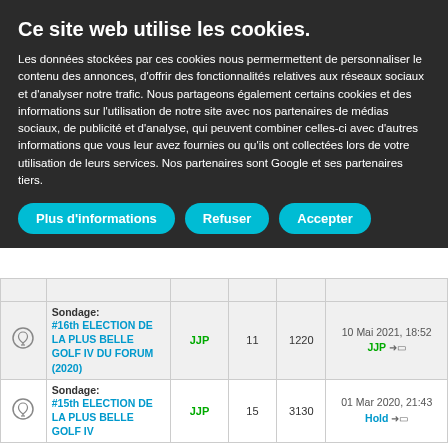Ce site web utilise les cookies.
Les données stockées par ces cookies nous permermettent de personnaliser le contenu des annonces, d'offrir des fonctionnalités relatives aux réseaux sociaux et d'analyser notre trafic. Nous partageons également certains cookies et des informations sur l'utilisation de notre site avec nos partenaires de médias sociaux, de publicité et d'analyse, qui peuvent combiner celles-ci avec d'autres informations que vous leur avez fournies ou qu'ils ont collectées lors de votre utilisation de leurs services. Nos partenaires sont Google et ses partenaires tiers.
Plus d'informations
Refuser
Accepter
|  | Sujet | Auteur | Réponses | Vues | Dernier message |
| --- | --- | --- | --- | --- | --- |
|  | Sondage: #16th ELECTION DE LA PLUS BELLE GOLF IV DU FORUM (2020) | JJP | 11 | 1220 | 10 Mai 2021, 18:52 JJP → |
|  | Sondage: #15th ELECTION DE LA PLUS BELLE GOLF IV DU FORUM | JJP | 15 | 3130 | 01 Mar 2020, 21:43 Hold → |